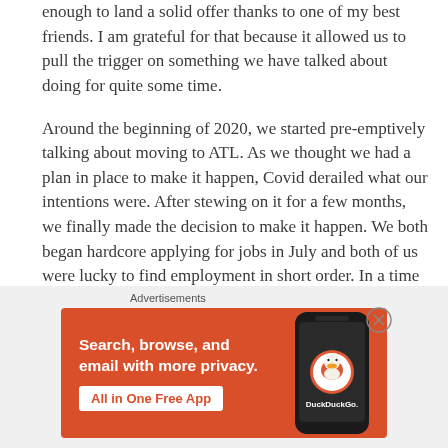enough to land a solid offer thanks to one of my best friends. I am grateful for that because it allowed us to pull the trigger on something we have talked about doing for quite some time.
Around the beginning of 2020, we started pre-emptively talking about moving to ATL. As we thought we had a plan in place to make it happen, Covid derailed what our intentions were. After stewing on it for a few months, we finally made the decision to make it happen. We both began hardcore applying for jobs in July and both of us were lucky to find employment in short order. In a time where people have experienced hardships, we are both very fortunate.
[Figure (other): DuckDuckGo advertisement banner: orange background with text 'Search, browse, and email with more privacy. All in One Free App' and a phone showing the DuckDuckGo app logo]